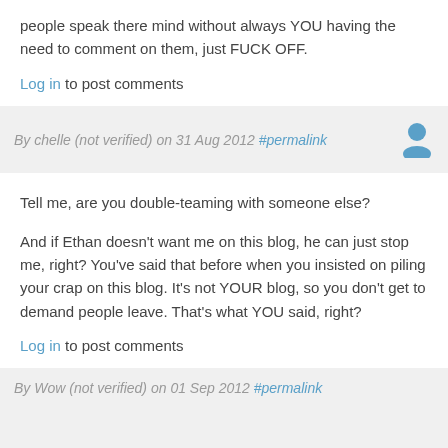people speak there mind without always YOU having the need to comment on them, just FUCK OFF.
Log in to post comments
By chelle (not verified) on 31 Aug 2012 #permalink
Tell me, are you double-teaming with someone else?

And if Ethan doesn't want me on this blog, he can just stop me, right? You've said that before when you insisted on piling your crap on this blog. It's not YOUR blog, so you don't get to demand people leave. That's what YOU said, right?
Log in to post comments
By Wow (not verified) on 01 Sep 2012 #permalink